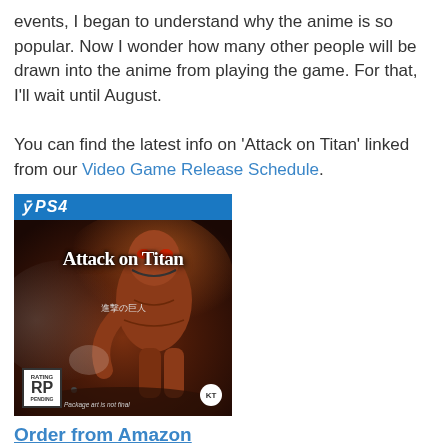events, I began to understand why the anime is so popular. Now I wonder how many other people will be drawn into the anime from playing the game. For that, I'll wait until August.

You can find the latest info on 'Attack on Titan' linked from our Video Game Release Schedule.
[Figure (photo): PS4 game box cover for 'Attack on Titan' (進撃の巨人) by Koei Tecmo, showing a large titan figure against a smoky battle background. Includes PS4 branding bar at top, ESRB RP rating, KT logo, and 'Package art is not final' text.]
Order from Amazon